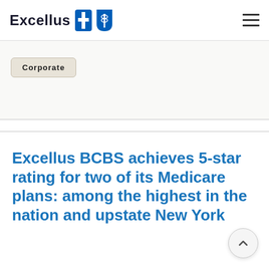Excellus [logo] BlueCross BlueShield
Corporate
Excellus BCBS achieves 5-star rating for two of its Medicare plans: among the highest in the nation and upstate New York